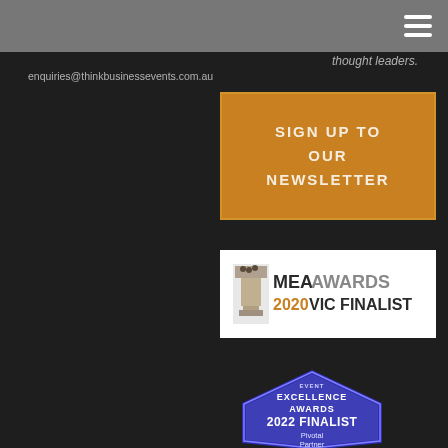[Figure (screenshot): Dark website page with grey top navigation bar containing hamburger menu icon]
thought leaders.
enquiries@thinkbusinessevents.com.au
[Figure (other): Orange button: SIGN UP TO OUR NEWSLETTER]
[Figure (logo): MEA Awards 2020 VIC Finalist badge on white background]
[Figure (logo): Event Excellence Awards 2022 Finalist Pivotal Partner hexagon badge in blue/purple]